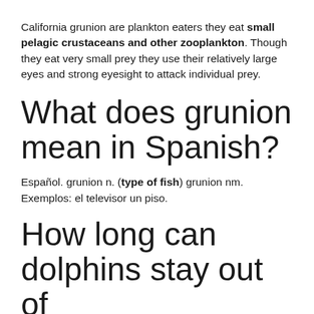California grunion are plankton eaters they eat small pelagic crustaceans and other zooplankton. Though they eat very small prey they use their relatively large eyes and strong eyesight to attack individual prey.
What does grunion mean in Spanish?
Español. grunion n. (type of fish) grunion nm. Exemplos: el televisor un piso.
How long can dolphins stay out of water?